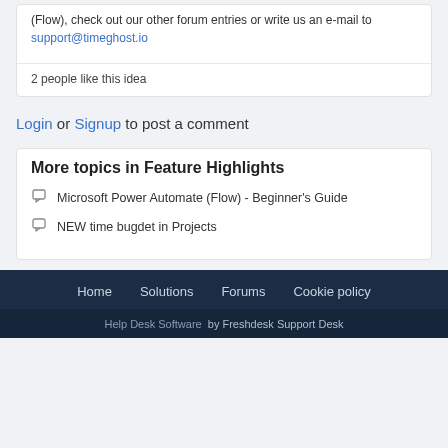(Flow), check out our other forum entries or write us an e-mail to support@timeghost.io
2 people like this idea
Login or Signup to post a comment
More topics in Feature Highlights
Microsoft Power Automate (Flow) - Beginner's Guide
NEW time bugdet in Projects
Home  Solutions  Forums  Cookie policy
Help Desk Software  by Freshdesk Support Desk